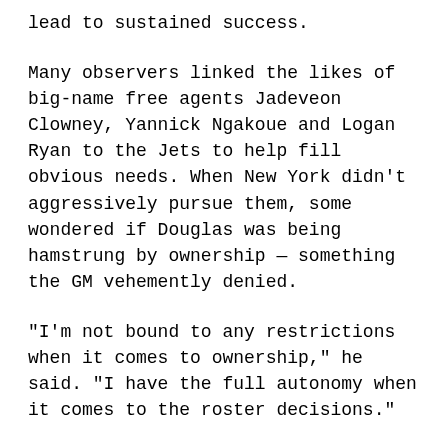lead to sustained success.
Many observers linked the likes of big-name free agents Jadeveon Clowney, Yannick Ngakoue and Logan Ryan to the Jets to help fill obvious needs. When New York didn't aggressively pursue them, some wondered if Douglas was being hamstrung by ownership — something the GM vehemently denied.
“I’m not bound to any restrictions when it comes to ownership,” he said. “I have the full autonomy when it comes to the roster decisions.”
The Jets have plenty of salary cap space remaining this year, but Douglas is content to roll it over to next season — a prudent move considering the uncertainty caused by the pandemic over what the cap amount will be.